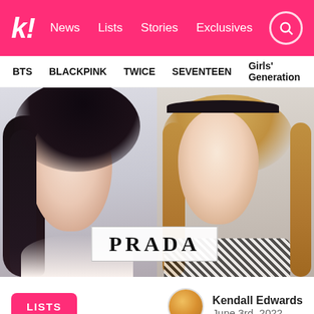k! News  Lists  Stories  Exclusives
BTS  BLACKPINK  TWICE  SEVENTEEN  Girls' Generation
[Figure (photo): Two K-pop female idols side by side: left has dark hair (profile view), right has blonde hair with black headband. PRADA logo overlaid at bottom center.]
LISTS
Kendall Edwards
June 3rd, 2022